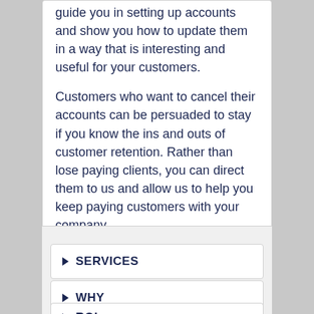guide you in setting up accounts and show you how to update them in a way that is interesting and useful for your customers.
Customers who want to cancel their accounts can be persuaded to stay if you know the ins and outs of customer retention. Rather than lose paying clients, you can direct them to us and allow us to help you keep paying customers with your company.
SERVICES
WHY
ROI